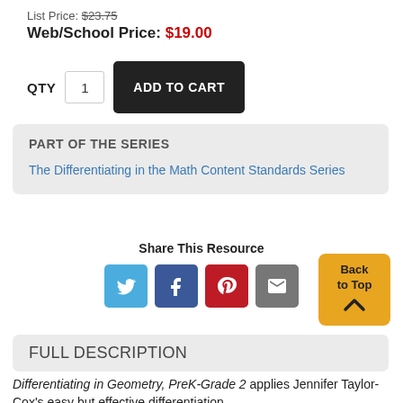List Price: $23.75
Web/School Price: $19.00
QTY  1  ADD TO CART
PART OF THE SERIES
The Differentiating in the Math Content Standards Series
Share This Resource
[Figure (infographic): Social share buttons: Twitter, Facebook, Pinterest, Email; Back to Top button]
FULL DESCRIPTION
Differentiating in Geometry, PreK-Grade 2 applies Jennifer Taylor-Cox's easy but effective differentiation